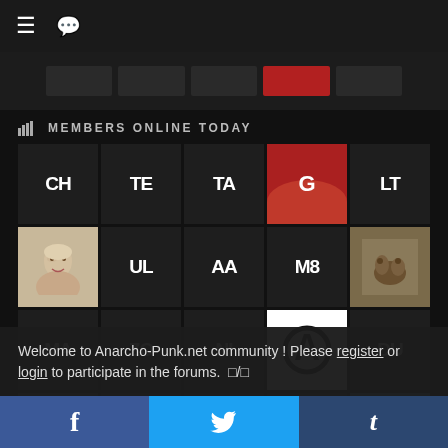≡  💬
[Figure (screenshot): Thumbnail strip with 5 items, the 4th highlighted in red]
MEMBERS ONLINE TODAY
[Figure (screenshot): 5x4 grid of member avatars showing initials or photos: CH, TE, TA, [G photo], LT, [Marilyn Monroe photo], UL, AA, M8, [animals photo], MA, ZO, NI, [anarchy symbol], DU, [sketch photo], OG, PE, DG, [manga photo]]
Welcome to Anarcho-Punk.net community ! Please register or login to participate in the forums. □/□
f  [Twitter bird]  t